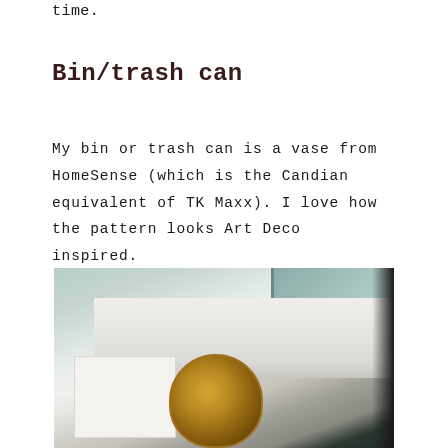time.
Bin/trash can
My bin or trash can is a vase from HomeSense (which is the Candian equivalent of TK Maxx). I love how the pattern looks Art Deco inspired.
[Figure (photo): Photo showing a window sill area with a white box/cube and a gold Art Deco patterned glass vase/container sitting near a window with teal-framed panes and white sill in background.]